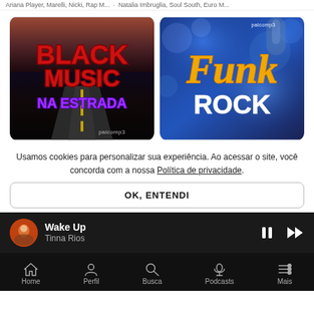Ariana Player, Marelli, Nicki, Rap M... · Natalia Imbruglia, Soul South, Euro M...
[Figure (illustration): Black Music Na Estrada playlist cover - dark road background with stylized 3D red text BLACK MUSIC and purple text NA ESTRADA, palcomp3 logo]
[Figure (illustration): Funk Rock playlist cover - blue bokeh background with gold cursive Funk and white bold ROCK text, palcomp3 logo]
Usamos cookies para personalizar sua experiência. Ao acessar o site, você concorda com a nossa Política de privacidade.
OK, ENTENDI
Wake Up
Tinna Rios
Home  Perfil  Busca  Podcasts  Mais